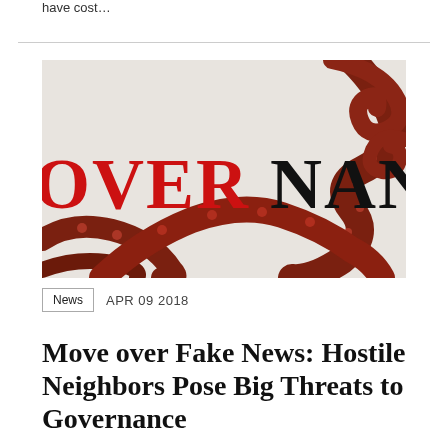have cost…
[Figure (photo): Close-up photograph of red octopus tentacles overlaid with large bold text reading 'OVERNANG' (partial word 'GOVERNANCE'), with red letters 'OVER' and black letters 'NAN' visible.]
News   APR 09 2018
Move over Fake News: Hostile Neighbors Pose Big Threats to Governance